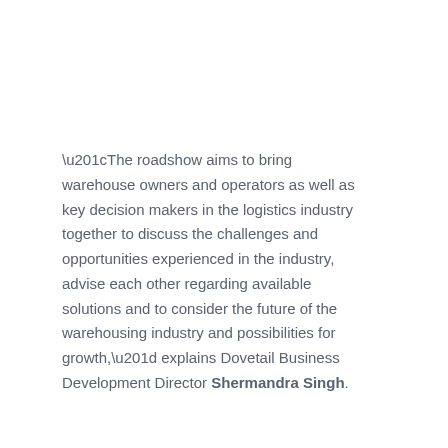“The roadshow aims to bring warehouse owners and operators as well as key decision makers in the logistics industry together to discuss the challenges and opportunities experienced in the industry, advise each other regarding available solutions and to consider the future of the warehousing industry and possibilities for growth,” explains Dovetail Business Development Director Shermandra Singh.